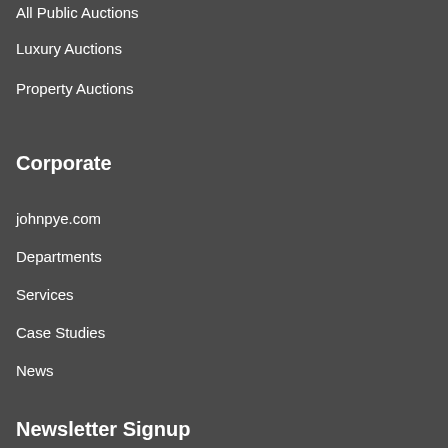All Public Auctions
Luxury Auctions
Property Auctions
Corporate
johnpye.com
Departments
Services
Case Studies
News
Newsletter Signup